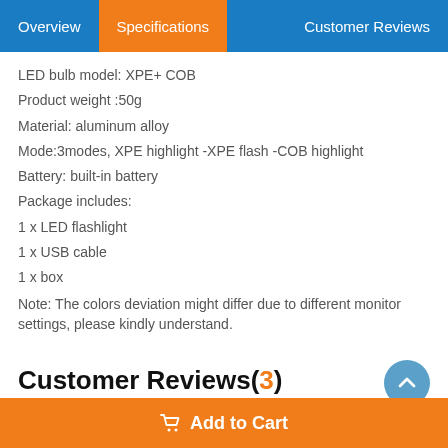Overview | Specifications | Customer Reviews
LED bulb model: XPE+ COB
Product weight :50g
Material: aluminum alloy
Mode:3modes, XPE highlight -XPE flash -COB highlight
Battery: built-in battery
Package includes:
1 x LED flashlight
1 x USB cable
1 x box
Note: The colors deviation might differ due to different monitor settings, please kindly understand.
Customer Reviews(3)
Add to Cart